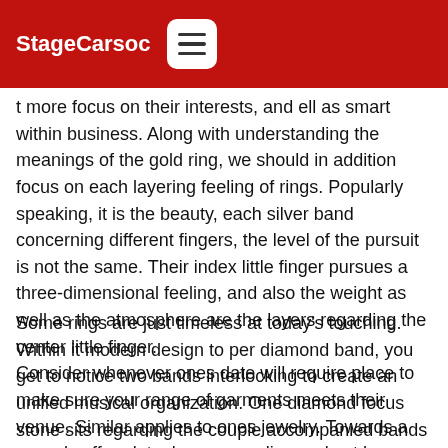StageCarsoc
t more focus on their interests, and ell as smart within business. Along with understanding the meanings of the gold ring, we should in addition focus on each layering feeling of rings. Popularly speaking, it is the beauty, each silver band concerning different fingers, the level of the pursuit is not the same. Their index little finger pursues a three-dimensional feeling, and also the weight as well as the atmosphere are the layers regarding the center little finger.
Consider whenever ones date will require place to make sure your range of garments meets their venue. Similar applies to ones jewelry. Towards a casual coffee date, leave your diamonds at home. Alternatively, wear your minimalistic flower silver pendant necklace.
Some rings are just timeless at today's touching. Within it modern design to per diamond band, you get to notice two bands interlocking to create an unified musical organization. One diamond focus stone sits regarding the couple accompanied bands out of soft then pave encrusted textures, occur 18k rose silver.The senior send younger GenerationIn purchase to state the objectives regarding the young generations, a few existing user